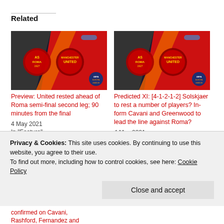Related
[Figure (photo): Football match preview image showing AS Roma vs Manchester United logos with Europa League branding on stadium background]
Preview: United rested ahead of Roma semi-final second leg; 90 minutes from the final
4 May 2021
In "Feature"
[Figure (photo): Football match image showing AS Roma vs Manchester United logos with Europa League branding on stadium background]
Predicted XI: [4-1-2-1-2] Solskjaer to rest a number of players? In-form Cavani and Greenwood to lead the line against Roma?
4 May 2021
In "Feature"
Privacy & Cookies: This site uses cookies. By continuing to use this website, you agree to their use.
To find out more, including how to control cookies, see here: Cookie Policy
Close and accept
confirmed on Cavani,
Rashford, Fernandez and